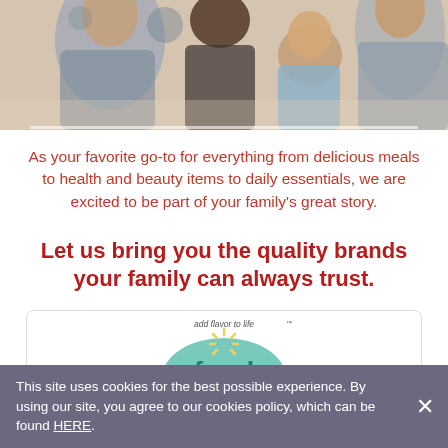[Figure (photo): Family photo showing adults and a child smiling together in a kitchen setting, partially cropped at top]
As your favorite go-to for everything from delicious meals to health and beauty items to daily essentials, we are excited to be part of your family's great story.
Let us bring you the quality brands your family can always trust.
[Figure (logo): Food Club brand logo — circular green badge with 'add flavor to life' tagline at top, sun rays graphic, and 'food club' text inside]
This site uses cookies for the best possible experience. By using our site, you agree to our cookies policy, which can be found HERE.